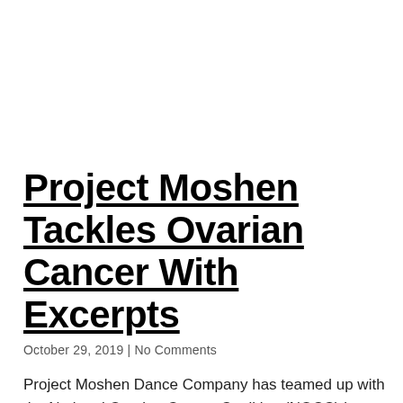Project Moshen Tackles Ovarian Cancer With Excerpts
October 29, 2019 | No Comments
Project Moshen Dance Company has teamed up with the National Ovarian Cancer Coalition (NOCC) in an effort to raise funds, provide information and improve the
READ MORE »